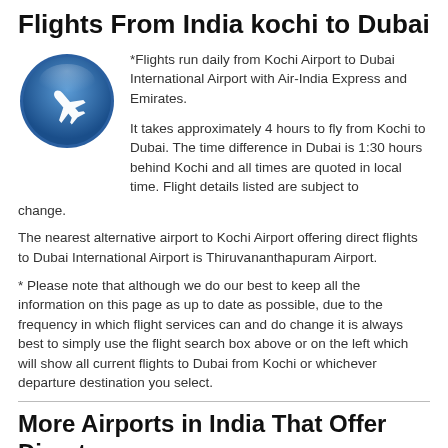Flights From India kochi to Dubai
[Figure (illustration): Blue circular airplane icon — a white airplane silhouette on a blue gradient circular button with a slight glass/shine effect]
*Flights run daily from Kochi Airport to Dubai International Airport with Air-India Express and Emirates.

It takes approximately 4 hours to fly from Kochi to Dubai. The time difference in Dubai is 1:30 hours behind Kochi and all times are quoted in local time. Flight details listed are subject to change.
The nearest alternative airport to Kochi Airport offering direct flights to Dubai International Airport is Thiruvananthapuram Airport.
* Please note that although we do our best to keep all the information on this page as up to date as possible, due to the frequency in which flight services can and do change it is always best to simply use the flight search box above or on the left which will show all current flights to Dubai from Kochi or whichever departure destination you select.
More Airports in India That Offer Direct Flights to Dubai
Ahmedabad to Dubai